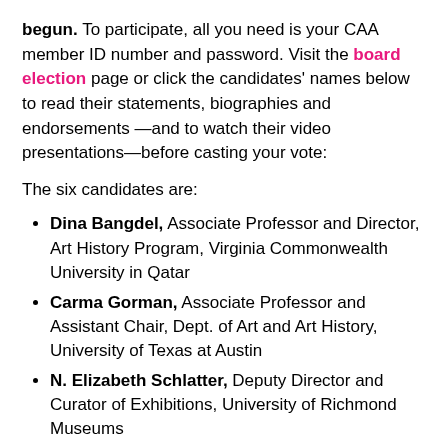begun. To participate, all you need is your CAA member ID number and password. Visit the board election page or click the candidates' names below to read their statements, biographies and endorsements —and to watch their video presentations—before casting your vote:
The six candidates are:
Dina Bangdel, Associate Professor and Director, Art History Program, Virginia Commonwealth University in Qatar
Carma Gorman, Associate Professor and Assistant Chair, Dept. of Art and Art History, University of Texas at Austin
N. Elizabeth Schlatter, Deputy Director and Curator of Exhibitions, University of Richmond Museums
Andrew Schulz, Associate Dean for Research